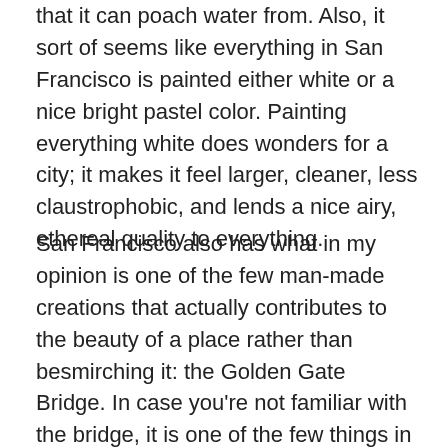that it can poach water from. Also, it sort of seems like everything in San Francisco is painted either white or a nice bright pastel color. Painting everything white does wonders for a city; it makes it feel larger, cleaner, less claustrophobic, and lends a nice airy, ethereal quality to everything.
San Francisco also has what in my opinion is one of the few man-made creations that actually contributes to the beauty of a place rather than besmirching it: the Golden Gate Bridge. In case you're not familiar with the bridge, it is one of the few things in San Francisco not painted white or pastel, but rather a bright burnt orange (actually "international orange" for those of you who want to go out to your local Home Depot and pick up a gallon). The "Golden Gate" for which the bridge is named (and not